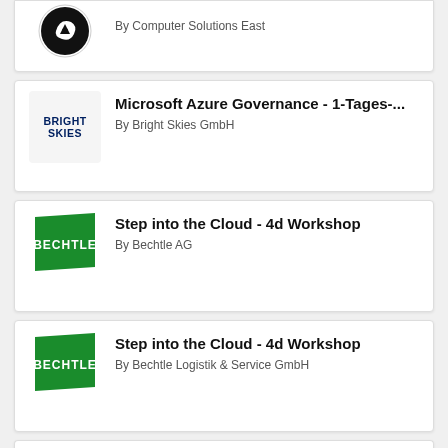[Figure (logo): Partial card at top - circular logo with arrow/swirl, By Computer Solutions East]
By Computer Solutions East
[Figure (logo): Bright Skies GmbH logo - dark blue bold text BRIGHT SKIES on light background]
Microsoft Azure Governance - 1-Tages-...
By Bright Skies GmbH
[Figure (logo): Bechtle AG logo - green rectangle with white BECHTLE text]
Step into the Cloud - 4d Workshop
By Bechtle AG
[Figure (logo): Bechtle Logistik logo - green rectangle with white BECHTLE text]
Step into the Cloud - 4d Workshop
By Bechtle Logistik & Service GmbH
[Figure (logo): Supremo logo in red-orange italic text]
2-Day Azure Security Workshop
By Supremo Sp. z o.o.